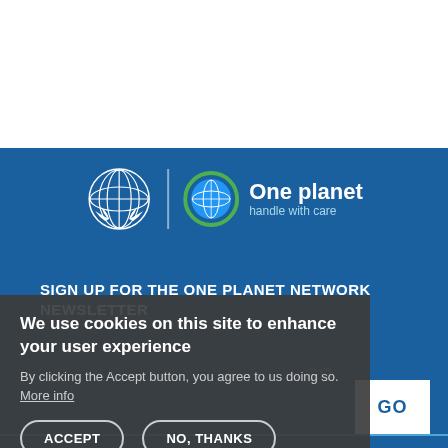[Figure (logo): UN emblem and One Planet handle with care logo on blue background]
SIGN UP FOR THE ONE PLANET NETWORK NEWSLETTER
We use cookies on this site to enhance your user experience
By clicking the Accept button, you agree to us doing so. More info
ACCEPT  NO, THANKS